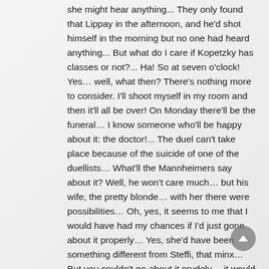she might hear anything... They only found that Lippay in the afternoon, and he'd shot himself in the morning but no one had heard anything... But what do I care if Kopetzky has classes or not?... Ha! So at seven o'clock! Yes… well, what then? There's nothing more to consider. I'll shoot myself in my room and then it'll all be over! On Monday there'll be the funeral… I know someone who'll be happy about it: the doctor!... The duel can't take place because of the suicide of one of the duellists… What'll the Mannheimers say about it? Well, he won't care much… but his wife, the pretty blonde… with her there were possibilities… Oh, yes, it seems to me that I would have had my chances if I'd just gone about it properly… Yes, she'd have been something different from Steffi, that minx… But you couldn't go about it crudely… it would have meant to go courting, to send flowers, to talk cleverly… you couldn't just say: come on over to the barracks tomorrow! Oh, yes, such a decent woman, that would have been something… The wife of my captain in Przemysl certainly wasn't a decent woman… I could have sworn that Libitzky and Wermutek and that shabby deputy officer also had her… But Mrs Mannheimer… Yes, that would have been something else, that would also certainly have been a complete change, one that could almost turn you into